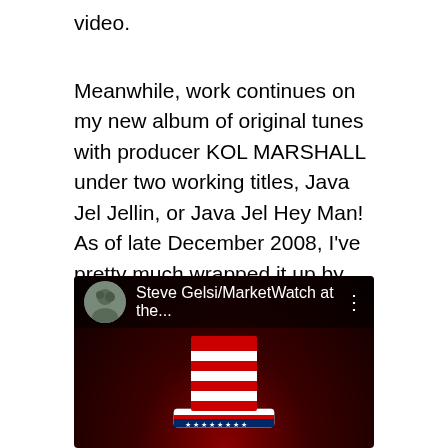video.
Meanwhile, work continues on my new album of original tunes with producer KOL MARSHALL under two working titles, Java Jel Jellin, or Java Jel Hey Man! As of late December 2008, I've pretty much wrapped it up by adding stacks of Java vocals to tap into my Beach Boys obsession. What the songs lack in flashy lead guitar, they make up with great drums, bass and lots of vocals — plus plenty of hooks I hope. The album marks the 20th anniversary of my very first studio recording, Java's Jesus Jam. It sounds pretty good. We'll finish up mixing soon and get it out on I-Tunes.
[Figure (screenshot): YouTube video thumbnail showing 'Steve Gelsi/MarketWatch at the...' with a profile avatar and an Uncle Sam hat image on a dark red background with three-dot menu icon.]